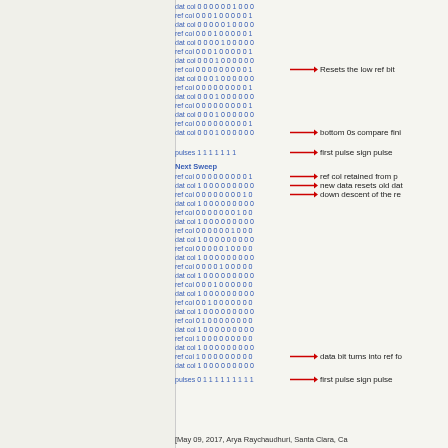dat col 0 0 0 0 0 0 1 0 0 0
ref col 0 0 0 1 0 0 0 0 0 1
dat col 0 0 0 0 0 1 0 0 0 0
ref col 0 0 0 1 0 0 0 0 0 1
dat col 0 0 0 0 1 0 0 0 0 0
ref col 0 0 0 1 0 0 0 0 0 1
dat col 0 0 0 1 0 0 0 0 0 0
ref col 0 0 0 0 0 0 0 0 0 1 — Resets the low ref bit
dat col 0 0 0 1 0 0 0 0 0 0
ref col 0 0 0 0 0 0 0 0 0 1
dat col 0 0 0 1 0 0 0 0 0 0
ref col 0 0 0 0 0 0 0 0 0 1
dat col 0 0 0 1 0 0 0 0 0 0
ref col 0 0 0 0 0 0 0 0 0 1
dat col 0 0 0 1 0 0 0 0 0 0 — bottom 0s compare fini
pulses 1 1 1 1 1 1 1 — first pulse sign pulse
Next Sweep
ref col 0 0 0 0 0 0 0 0 0 1 — ref col retained from p
dat col 1 0 0 0 0 0 0 0 0 0 — new data resets old dat
ref col 0 0 0 0 0 0 0 0 1 0 — down descent of the re
dat col 1 0 0 0 0 0 0 0 0 0
ref col 0 0 0 0 0 0 0 1 0 0
dat col 1 0 0 0 0 0 0 0 0 0
ref col 0 0 0 0 0 0 1 0 0 0
dat col 1 0 0 0 0 0 0 0 0 0
ref col 0 0 0 0 0 1 0 0 0 0
dat col 1 0 0 0 0 0 0 0 0 0
ref col 0 0 0 0 1 0 0 0 0 0
dat col 1 0 0 0 0 0 0 0 0 0
ref col 0 0 0 1 0 0 0 0 0 0
dat col 1 0 0 0 0 0 0 0 0 0
ref col 0 0 1 0 0 0 0 0 0 0
dat col 1 0 0 0 0 0 0 0 0 0
ref col 0 1 0 0 0 0 0 0 0 0
dat col 1 0 0 0 0 0 0 0 0 0
ref col 1 0 0 0 0 0 0 0 0 0
dat col 1 0 0 0 0 0 0 0 0 0
ref col 1 0 0 0 0 0 0 0 0 0 — data bit turns into ref fo
dat col 1 0 0 0 0 0 0 0 0 0
pulses 0 1 1 1 1 1 1 1 1 1 — first pulse sign pulse
[May 09, 2017, Arya Raychaudhuri, Santa Clara, Ca
[May 09, 2017, Arya Raychaudhuri, Santa Clara, Ca